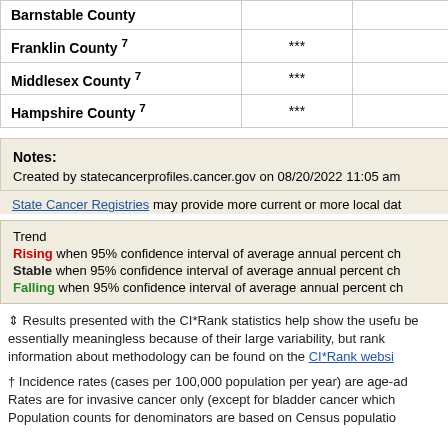| County | Trend | Rate (95% CI) |
| --- | --- | --- |
| Barnstable County |  | 56.9 (53.8, 60.4) |
| Franklin County 7 | *** | 55.2 (48.9, 62.2) |
| Middlesex County 7 | *** | 54.0 (52.5, 55.6) |
| Hampshire County 7 | *** | 52.5 (48.0, 57.4) |
Notes:
Created by statecancerprofiles.cancer.gov on 08/20/2022 11:05 am
State Cancer Registries may provide more current or more local dat...
Trend
Rising when 95% confidence interval of average annual percent ch...
Stable when 95% confidence interval of average annual percent ch...
Falling when 95% confidence interval of average annual percent ch...
ñ Results presented with the CI*Rank statistics help show the usefu... be essentially meaningless because of their large variability, but rank... information about methodology can be found on the CI*Rank websi...
† Incidence rates (cases per 100,000 population per year) are age-ad... Rates are for invasive cancer only (except for bladder cancer which... Population counts for denominators are based on Census populatio...